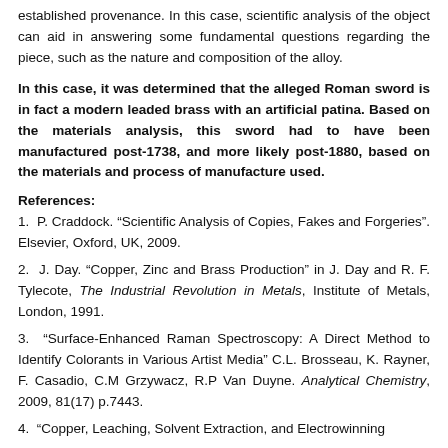established provenance. In this case, scientific analysis of the object can aid in answering some fundamental questions regarding the piece, such as the nature and composition of the alloy.
In this case, it was determined that the alleged Roman sword is in fact a modern leaded brass with an artificial patina. Based on the materials analysis, this sword had to have been manufactured post-1738, and more likely post-1880, based on the materials and process of manufacture used.
References:
1. P. Craddock. “Scientific Analysis of Copies, Fakes and Forgeries”. Elsevier, Oxford, UK, 2009.
2. J. Day. “Copper, Zinc and Brass Production” in J. Day and R. F. Tylecote, The Industrial Revolution in Metals, Institute of Metals, London, 1991.
3. “Surface-Enhanced Raman Spectroscopy: A Direct Method to Identify Colorants in Various Artist Media” C.L. Brosseau, K. Rayner, F. Casadio, C.M Grzywacz, R.P Van Duyne. Analytical Chemistry, 2009, 81(17) p.7443.
4. “Copper, Leaching, Solvent Extraction, and Electrowinning